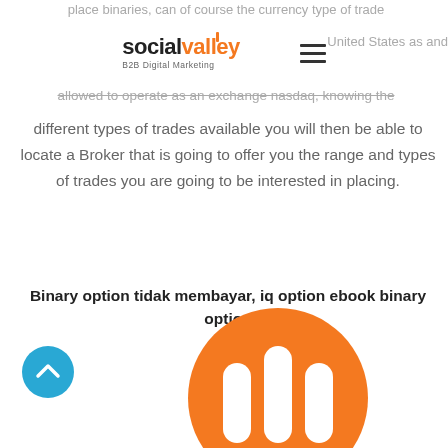place binaries, can of course the currency type of trade down much United States as and allowed to operate as an exchange nasdaq, knowing the
socialvalley B2B Digital Marketing [hamburger menu]
different types of trades available you will then be able to locate a Broker that is going to offer you the range and types of trades you are going to be interested in placing.
Binary option tidak membayar, iq option ebook binary option
[Figure (logo): Orange circular logo with white bar chart icon (three vertical bars)]
[Figure (illustration): Cyan/teal circular scroll-to-top button with upward chevron arrow]